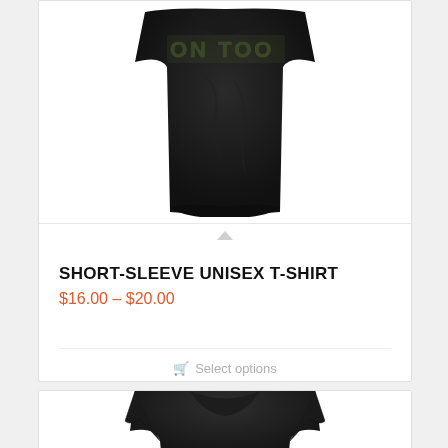[Figure (photo): Black t-shirt with camouflage/olive text on front, laid flat, top portion of product card]
SHORT-SLEEVE UNISEX T-SHIRT
$16.00 – $20.00
Select options
[Figure (photo): Black t-shirt with crew neck, bottom portion visible, start of second product card]